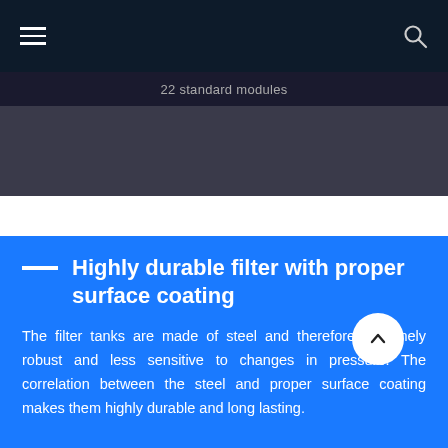22 standard modules
Highly durable filter with proper surface coating
The filter tanks are made of steel and therefore extremely robust and less sensitive to changes in pressure. The correlation between the steel and proper surface coating makes them highly durable and long lasting.